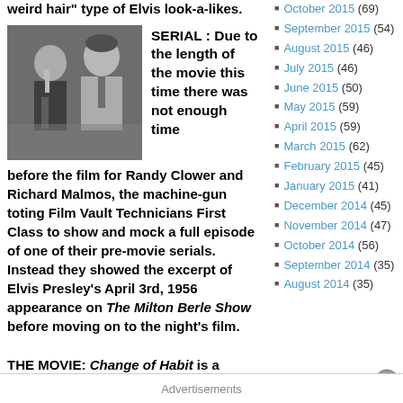weird hair" type of Elvis look-a-likes.
[Figure (photo): Black and white photo of two men, one of whom appears to be Elvis Presley, speaking into a microphone.]
SERIAL : Due to the length of the movie this time there was not enough time before the film for Randy Clower and Richard Malmos, the machine-gun toting Film Vault Technicians First Class to show and mock a full episode of one of their pre-movie serials. Instead they showed the excerpt of Elvis Presley’s April 3rd, 1956 appearance on The Milton Berle Show before moving on to the night’s film.
THE MOVIE: Change of Habit is a movie that was practically MADE to be ridiculed.
October 2015 (69)
September 2015 (54)
August 2015 (46)
July 2015 (46)
June 2015 (50)
May 2015 (59)
April 2015 (59)
March 2015 (62)
February 2015 (45)
January 2015 (41)
December 2014 (45)
November 2014 (47)
October 2014 (56)
September 2014 (35)
August 2014 (35)
Advertisements